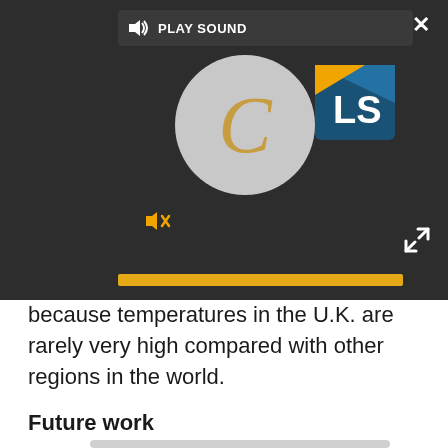[Figure (screenshot): A media player UI with a dark background, showing a 'PLAY SOUND' button at the top, a circular grey logo with a stylized C in golden color, an LS logo on the right, a muted speaker icon, and a yellow progress bar at the bottom.]
because temperatures in the U.K. are rarely very high compared with other regions in the world.
Future work
The researchers aren't sure exactly what's behind the link, but evidence from laboratory studies on cold exposure suggests clues. Cold temperatures are known to raise blood pressure and also increase levels of certain proteins that could increase the risk for blood clots.